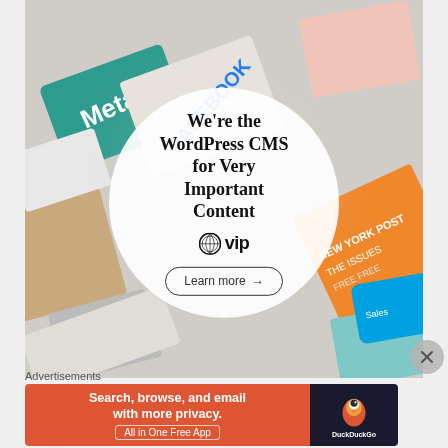[Figure (infographic): WordPress VIP advertisement with collage background of various publication logos (Meta, Facebook, New York Post, Salesforce etc.) and a white circle overlay in the center containing the tagline 'We're the WordPress CMS for Very Important Content', a WordPress VIP logo, and a 'Learn more' button]
Advertisements
[Figure (infographic): DuckDuckGo advertisement banner: orange left side with text 'Search, browse, and email with more privacy. All in One Free App', dark right side with DuckDuckGo logo and name]